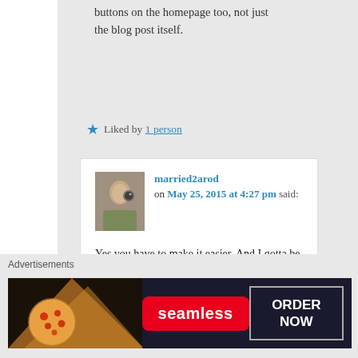buttons on the homepage too, not just the blog post itself.
Liked by 1 person
married2arod on May 25, 2015 at 4:27 pm said:
Yes you have to make it easier. And I gotta be honest, I know a lot of bloggers get
[Figure (screenshot): Seamless food ordering advertisement banner with pizza image on the left, Seamless logo in the center, and ORDER NOW button on the right]
Advertisements